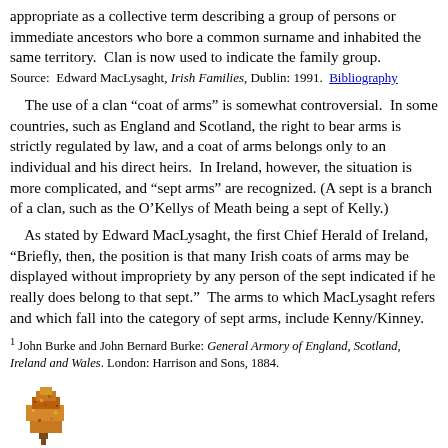appropriate as a collective term describing a group of persons or immediate ancestors who bore a common surname and inhabited the same territory.  Clan is now used to indicate the family group.
Source:  Edward MacLysaght, Irish Families, Dublin: 1991.  Bibliography
The use of a clan “coat of arms” is somewhat controversial.  In some countries, such as England and Scotland, the right to bear arms is strictly regulated by law, and a coat of arms belongs only to an individual and his direct heirs.  In Ireland, however, the situation is more complicated, and “sept arms” are recognized. (A sept is a branch of a clan, such as the O’Kellys of Meath being a sept of Kelly.)
As stated by Edward MacLysaght, the first Chief Herald of Ireland, “Briefly, then, the position is that many Irish coats of arms may be displayed without impropriety by any person of the sept indicated if he really does belong to that sept.”  The arms to which MacLysaght refers and which fall into the category of sept arms, include Kenny/Kinney.
1 John Burke and John Bernard Burke: General Armory of England, Scotland, Ireland and Wales. London: Harrison and Sons, 1884.
[Figure (illustration): Small pixel-art illustration of a tree with orange/brown foliage]